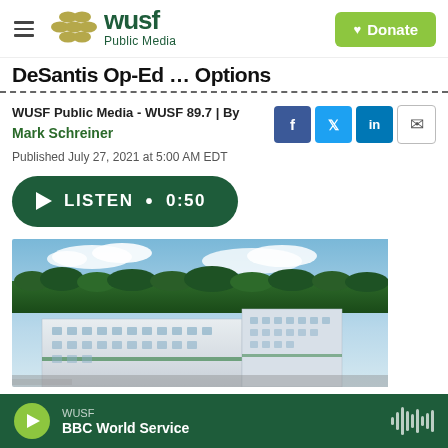WUSF Public Media logo | Donate button
DeSantis Op-Ed … (partially visible, truncated)
WUSF Public Media - WUSF 89.7 | By Mark Schreiner
Published July 27, 2021 at 5:00 AM EDT
[Figure (other): Green listen button with play icon: LISTEN • 0:50]
[Figure (photo): Aerial photograph of a hospital building complex with a river and dense tree line in the background under a blue sky with clouds]
WUSF | BBC World Service (audio player bar)